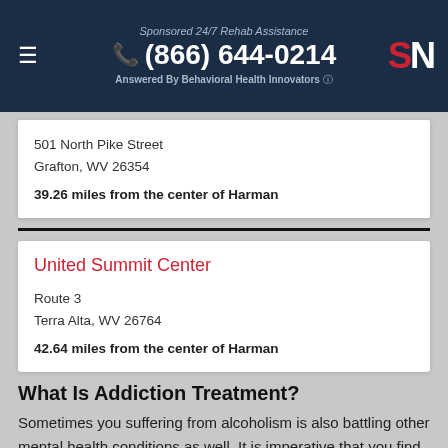Sponsored 24/7 Rehab Assistance
(866) 644-0214
Answered By Behavioral Health Innovators
501 North Pike Street
Grafton, WV 26354
39.26 miles from the center of Harman
United Summit Center
Route 3
Terra Alta, WV 26764
42.64 miles from the center of Harman
What Is Addiction Treatment?
Sometimes you suffering from alcoholism is also battling other mental health conditions as well. It is imperative that you find a rehab clinic that will cover all of your